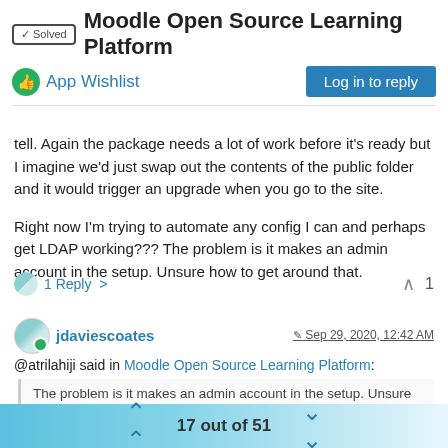✓ Solved  Moodle Open Source Learning Platform
App Wishlist
Log in to reply
tell. Again the package needs a lot of work before it's ready but I imagine we'd just swap out the contents of the public folder and it would trigger an upgrade when you go to the site.
Right now I'm trying to automate any config I can and perhaps get LDAP working??? The problem is it makes an admin account in the setup. Unsure how to get around that.
1 Reply >  ∧  1
jdaviescoates  Sep 29, 2020, 12:42 AM
@atrilahiji said in Moodle Open Source Learning Platform:
The problem is it makes an admin account in the setup. Unsure how to get around that.
17 out of 51